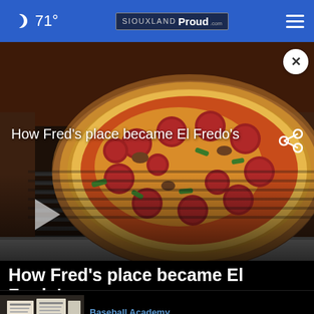71° | SIOUXLAND Proud
[Figure (screenshot): Pizza in an oven on a metal rack grate, video thumbnail with play button overlay and title overlay reading 'How Fred's place became El Fredo's']
How Fred's place became El Fredo's
[Figure (photo): Thumbnail of related story showing menus/documents]
Baseball Academy ... Sports / 1 day ago